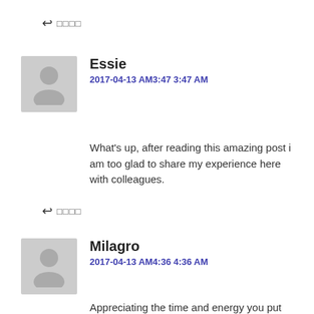↩ □□□□
Essie
2017-04-13 AM3:47 3:47 AM
What's up, after reading this amazing post i am too glad to share my experience here with colleagues.
↩ □□□□
Milagro
2017-04-13 AM4:36 4:36 AM
Appreciating the time and energy you put into your blog and in depth information you present. It's awesome to